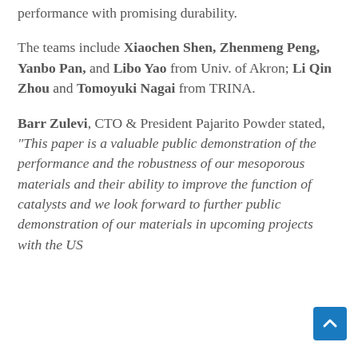performance with promising durability.
The teams include Xiaochen Shen, Zhenmeng Peng, Yanbo Pan, and Libo Yao from Univ. of Akron; Li Qin Zhou and Tomoyuki Nagai from TRINA.
Barr Zulevi, CTO & President Pajarito Powder stated, "This paper is a valuable public demonstration of the performance and the robustness of our mesoporous materials and their ability to improve the function of catalysts and we look forward to further public demonstration of our materials in upcoming projects with the US"